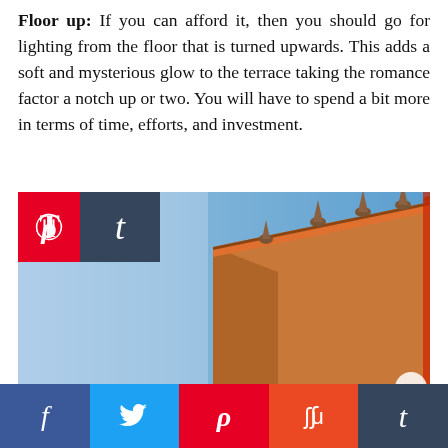Floor up: If you can afford it, then you should go for lighting from the floor that is turned upwards. This adds a soft and mysterious glow to the terrace taking the romance factor a notch up or two. You will have to spend a bit more in terms of time, efforts, and investment.
[Figure (photo): Photo of a terracotta-colored building with pointed decorative spires along its roofline, photographed against a clear blue sky. Social share icons (Pinterest, Tumblr) overlaid in top-left corner.]